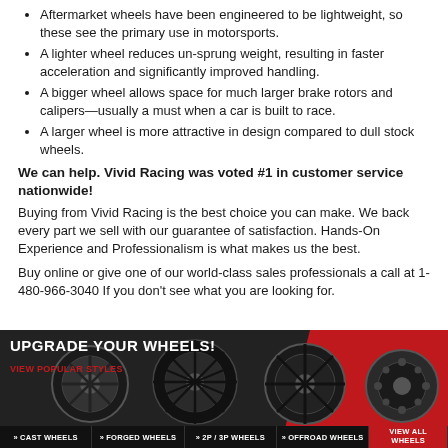Aftermarket wheels have been engineered to be lightweight, so these see the primary use in motorsports.
A lighter wheel reduces un-sprung weight, resulting in faster acceleration and significantly improved handling.
A bigger wheel allows space for much larger brake rotors and calipers—usually a must when a car is built to race.
A larger wheel is more attractive in design compared to dull stock wheels.
We can help. Vivid Racing was voted #1 in customer service nationwide!
Buying from Vivid Racing is the best choice you can make. We back every part we sell with our guarantee of satisfaction. Hands-On Experience and Professionalism is what makes us the best.
Buy online or give one of our world-class sales professionals a call at 1-480-966-3040 If you don't see what you are looking for.
[Figure (infographic): Promotional banner: 'Upgrade Your Wheels! View Popular Styles' with four dark alloy wheels displayed (cast, forged, 2P/3P, offroad) on a dark/red background. Bottom labels: Cast Wheels, Forged Wheels, 2P/3P Wheels, Offroad Wheels, View All Wheels.]